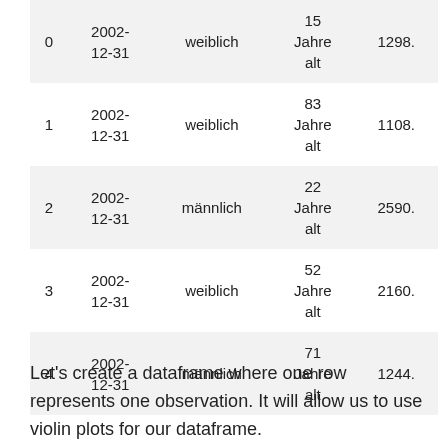|  |  |  |  |  |
| --- | --- | --- | --- | --- |
| 0 | 2002-12-31 | weiblich | 15 Jahre alt | 1298. |
| 1 | 2002-12-31 | weiblich | 83 Jahre alt | 1108. |
| 2 | 2002-12-31 | männlich | 22 Jahre alt | 2590. |
| 3 | 2002-12-31 | weiblich | 52 Jahre alt | 2160. |
| 4 | 2002-12-31 | männlich | 71 Jahre alt | 1244. |
Let's create a dataframe where one row represents one observation. It will allow us to use violin plots for our dataframe.